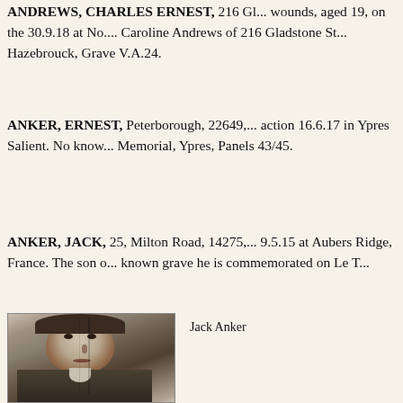ANDREWS, CHARLES ERNEST, 216 Gl... wounds, aged 19, on the 30.9.18 at No.... Caroline Andrews of 216 Gladstone St... Hazebrouck, Grave V.A.24.
ANKER, ERNEST, Peterborough, 22649, ... action 16.6.17 in Ypres Salient. No know... Memorial, Ypres, Panels 43/45.
ANKER, JACK, 25, Milton Road, 14275, ... 9.5.15 at Aubers Ridge, France. The son o... known grave he is commemorated on Le T...
[Figure (photo): Black and white portrait photograph of Jack Anker, a young man facing slightly left]
Jack Anker